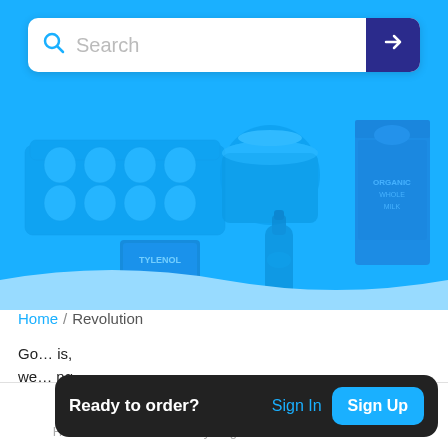[Figure (screenshot): Blue hero banner with grocery product illustrations (egg carton, Tylenol box, bottle, jar, milk carton) rendered in a blue-tinted style]
Search
Home / Revolution
Go... is, we... ng
Ready to order?  Sign In  Sign Up
Home  My Bag  Referrals